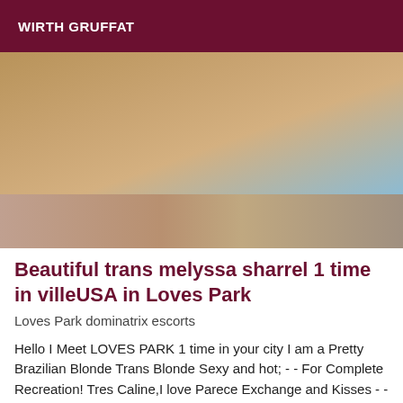WIRTH GRUFFAT
[Figure (photo): Photo of a person crouching by a pool wearing high-heeled sandals and a bikini]
Beautiful trans melyssa sharrel 1 time in villeUSA in Loves Park
Loves Park dominatrix escorts
Hello I Meet LOVES PARK 1 time in your city I am a Pretty Brazilian Blonde Trans Blonde Sexy and hot; - - For Complete Recreation! Tres Caline,I love Parece Exchange and Kisses - - Listening to All Your Desires --